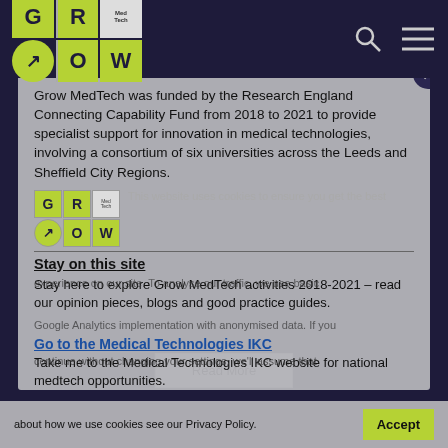[Figure (logo): GROW MedTech logo grid with G, R, MedTech, arrow, O, W tiles in lime green and grey]
Grow MedTech was funded by the Research England Connecting Capability Fund from 2018 to 2021 to provide specialist support for innovation in medical technologies, involving a consortium of six universities across the Leeds and Sheffield City Regions.
Stay on this site
Stay here to explore Grow MedTech activities 2018-2021 – read our opinion pieces, blogs and good practice guides.
Go to the Medical Technologies IKC
Take me to the Medical Technologies IKC website for national medtech opportunities.
This website uses cookies to ensure you get the best experience on our site. To analyse our traffic, we use basic Google Analytics implementation with anonymised data. If you continue without changing your settings, we'll assume that you are happy to receive all cookies. To understand more about how we use cookies see our Privacy Policy.
Accept
Read More